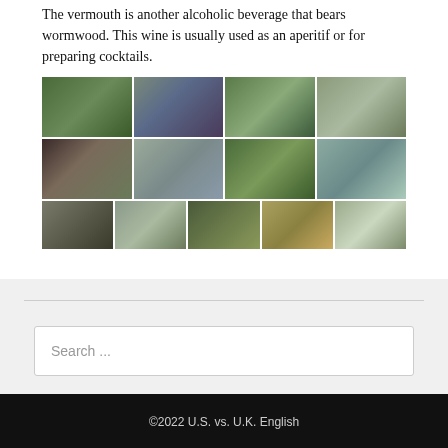The vermouth is another alcoholic beverage that bears wormwood. This wine is usually used as an aperitif or for preparing cocktails.
[Figure (photo): A 3-row grid of wormwood plant photos showing various Artemisia species with feathery gray-green foliage in different settings and close-up views. Row 1: 4 images. Row 2: 4 images. Row 3: 5 images.]
Search ...
©2022 U.S. vs. U.K. English